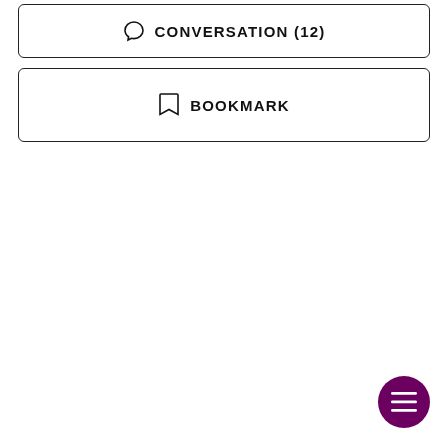[Figure (screenshot): Button labeled CONVERSATION (12) with a speech bubble icon, inside a rounded rectangle border]
[Figure (screenshot): Button labeled BOOKMARK with a bookmark icon, inside a rounded rectangle border]
[Figure (screenshot): Floating action button (FAB) with dark purple background and three horizontal lines (hamburger menu icon) at bottom right]